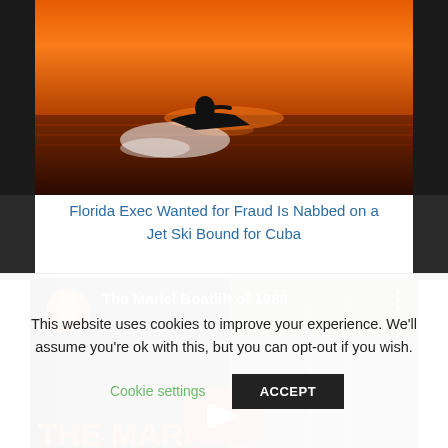[Figure (photo): Person riding a jet ski on ocean water at sunset, silhouetted against an orange sky]
Florida Exec Wanted for Fraud Is Nabbed on a Jet Ski Bound for Cuba
[Figure (screenshot): YouTube video thumbnail for 'The Mariel Boatlift of 1980' showing people on boats, with YouTube play button overlay]
This website uses cookies to improve your experience. We'll assume you're ok with this, but you can opt-out if you wish.
Cookie settings   ACCEPT